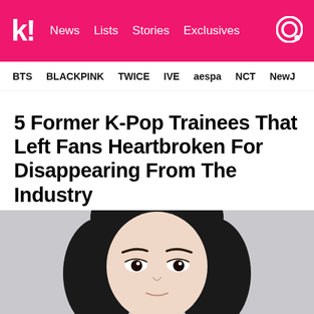k! News Lists Stories Exclusives
BTS BLACKPINK TWICE IVE aespa NCT NewJ
5 Former K-Pop Trainees That Left Fans Heartbroken For Disappearing From The Industry
We hope they're all happy with where they are now.
[Figure (photo): Close-up photo of a young Asian woman with long dark straight hair, looking slightly downward, against a light gray background.]